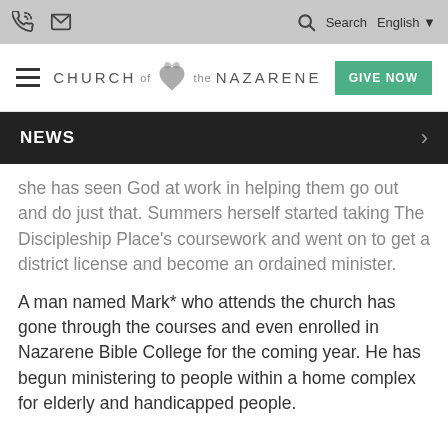Church of the Nazarene website header with phone icon, email icon, search, English language selector, hamburger menu, Church of the Nazarene logo, and GIVE NOW button
NEWS
she has seen God at work in helping them go out and do just that. Summers herself started taking The Discipleship Place's coursework and went on to get a district license and become an ordained minister.
A man named Mark* who attends the church has gone through the courses and even enrolled in Nazarene Bible College for the coming year. He has begun ministering to people within a home complex for elderly and handicapped people.